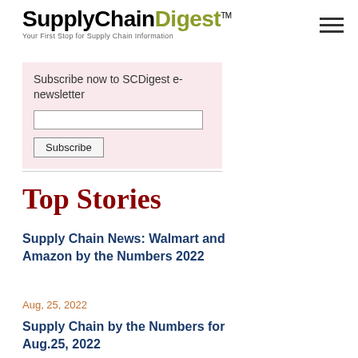SupplyChainDigest™ — Your First Stop for Supply Chain Information
Subscribe now to SCDigest e-newsletter
Subscribe
Top Stories
Supply Chain News: Walmart and Amazon by the Numbers 2022
Aug, 25, 2022
Supply Chain by the Numbers for Aug.25, 2022